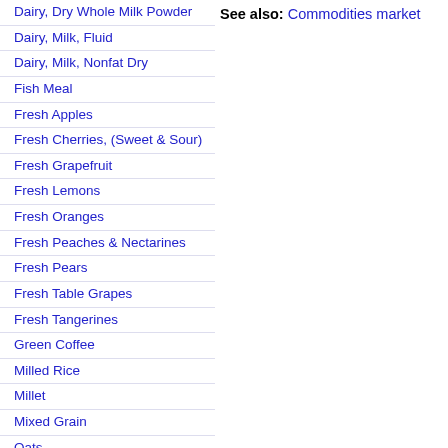Dairy, Dry Whole Milk Powder
Dairy, Milk, Fluid
Dairy, Milk, Nonfat Dry
Fish Meal
Fresh Apples
Fresh Cherries, (Sweet & Sour)
Fresh Grapefruit
Fresh Lemons
Fresh Oranges
Fresh Peaches & Nectarines
Fresh Pears
Fresh Table Grapes
Fresh Tangerines
Green Coffee
Milled Rice
Millet
Mixed Grain
Oats
Olive Oil
Orange Juice
Palm Kernel Meal
Palm Kernel Oil
Palm Kernel Oilseed
Palm Oil
Peanut Meal
See also: Commodities market